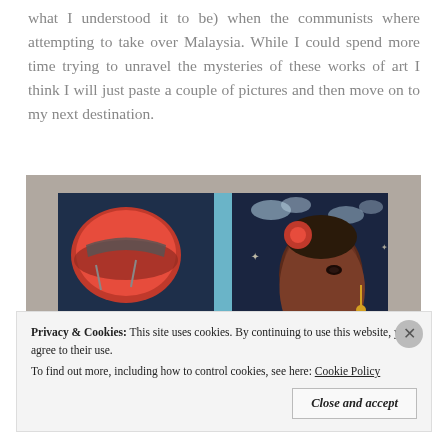what I understood it to be) when the communists where attempting to take over Malaysia. While I could spend more time trying to unravel the mysteries of these works of art I think I will just paste a couple of pictures and then move on to my next destination.
[Figure (photo): A diptych painting hung on a wall. Left panel shows a red motorcycle helmet and mechanical objects on a dark blue background. A vertical light blue stripe divides the panels. Right panel shows a dark-skinned woman's face in profile with elaborate earrings and a red flower in her hair, on a dark blue background with sky and clouds. Text 'p r e s e r v e r' appears at the bottom in gold lettering.]
Privacy & Cookies: This site uses cookies. By continuing to use this website, you agree to their use.
To find out more, including how to control cookies, see here: Cookie Policy